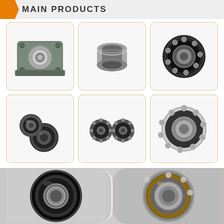MAIN PRODUCTS
[Figure (photo): Grid of 6 bearing product photos: pillow block bearing unit, needle roller bearing, angular contact ball bearing, two miniature bearings stacked, two small open ball bearings, and a deep groove ball bearing]
[Figure (photo): Two large close-up photos of bearings side by side: left shows a large sealed deep groove ball bearing (black rubber seal), right shows an angular contact ball bearing with brown/bronze cage]